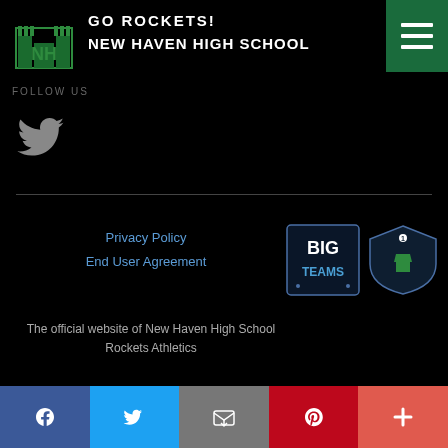GO ROCKETS! NEW HAVEN HIGH SCHOOL
FOLLOW US
[Figure (logo): NH New Haven High School green logo]
[Figure (logo): Twitter bird icon in grey]
[Figure (logo): BigTeams and #1 sports logos]
Privacy Policy
End User Agreement
The official website of New Haven High School Rockets Athletics
Facebook, Twitter, Email, Pinterest, More share buttons